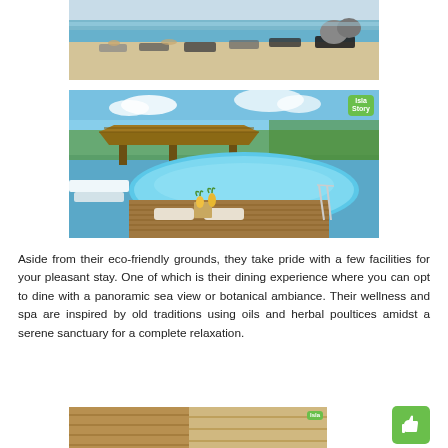[Figure (photo): Beach scene with lounge chairs and clear turquoise water, people relaxing on the sand]
[Figure (photo): Resort pool with thatched-roof structure, wooden deck, lounge chairs, and tropical drinks]
Aside from their eco-friendly grounds, they take pride with a few facilities for your pleasant stay. One of which is their dining experience where you can opt to dine with a panoramic sea view or botanical ambiance. Their wellness and spa are inspired by old traditions using oils and herbal poultices amidst a serene sanctuary for a complete relaxation.
[Figure (photo): Partial view of another resort area, partially cropped at bottom of page]